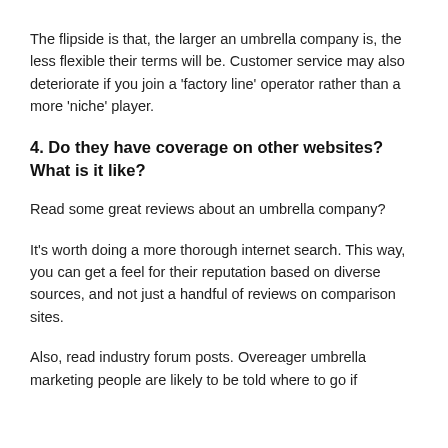The flipside is that, the larger an umbrella company is, the less flexible their terms will be. Customer service may also deteriorate if you join a ‘factory line’ operator rather than a more ‘niche’ player.
4. Do they have coverage on other websites? What is it like?
Read some great reviews about an umbrella company?
It’s worth doing a more thorough internet search. This way, you can get a feel for their reputation based on diverse sources, and not just a handful of reviews on comparison sites.
Also, read industry forum posts. Overeager umbrella marketing people are likely to be told where to go if